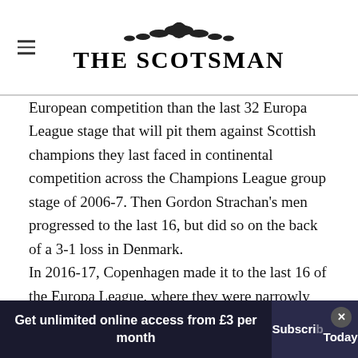THE SCOTSMAN
European competition than the last 32 Europa League stage that will pit them against Scottish champions they last faced in continental competition across the Champions League group stage of 2006-7. Then Gordon Strachan's men progressed to the last 16, but did so on the back of a 3-1 loss in Denmark.
In 2016-17, Copenhagen made it to the last 16 of the Europa League, where they were narrowly beaten by Ajax. Since then they have
Get unlimited online access from £3 per month
Subscribe Today